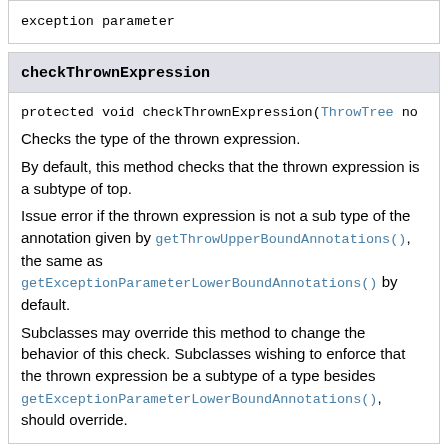exception parameter
checkThrownExpression
protected void checkThrownExpression(ThrowTree no
Checks the type of the thrown expression.
By default, this method checks that the thrown expression is a subtype of top.
Issue error if the thrown expression is not a sub type of the annotation given by getThrowUpperBoundAnnotations(), the same as getExceptionParameterLowerBoundAnnotations() by default.
Subclasses may override this method to change the behavior of this check. Subclasses wishing to enforce that the thrown expression be a subtype of a type besides getExceptionParameterLowerBoundAnnotations(), should override.